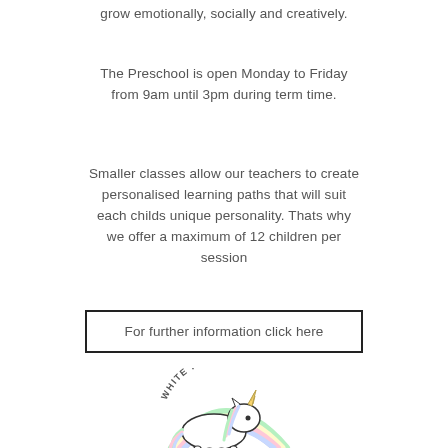grow emotionally, socially and creatively.
The Preschool is open Monday to Friday from 9am until 3pm during term time.
Smaller classes allow our teachers to create personalised learning paths that will suit each childs unique personality. Thats why we offer a maximum of 12 children per session
For further information click here
[Figure (logo): White Horse preschool logo featuring a cartoon unicorn with a rainbow and the text WHITE HORSE around it]